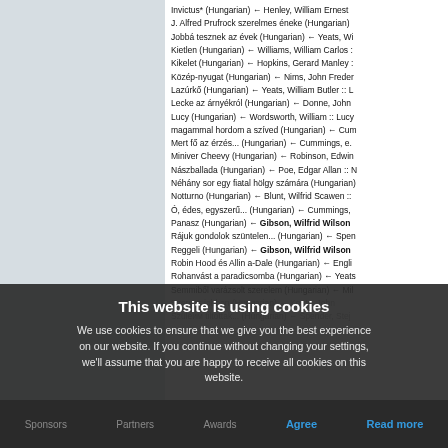Invictus* (Hungarian) ← Henley, William Ernest
J. Alfred Prufrock szerelmes éneke (Hungarian)
Jobbá tesznek az évek (Hungarian) ← Yeats, Wi
Kietlen (Hungarian) ← Williams, William Carlos
Kikelet (Hungarian) ← Hopkins, Gerard Manley
Közép-nyugat (Hungarian) ← Nims, John Frede
Lazúrkő (Hungarian) ← Yeats, William Butler :: L
Lecke az árnyékról (Hungarian) ← Donne, John
Lucy (Hungarian) ← Wordsworth, William :: Lucy
magammal hordom a szíved (Hungarian) ← Cu
Mert fő az érzés... (Hungarian) ← Cummings, e.
Miniver Cheevy (Hungarian) ← Robinson, Edwin
Nászballada (Hungarian) ← Poe, Edgar Allan ::
Néhány sor egy fiatal hölgy számára (Hungarian
Notturno (Hungarian) ← Blunt, Wilfrid Scawen ::
Ó, édes, egyszerű... (Hungarian) ← Cummings,
Panasz (Hungarian) ← Gibson, Wilfrid Wilson
Rájuk gondolok szüntelen... (Hungarian) ← Spe
Reggeli (Hungarian) ← Gibson, Wilfrid Wilson
Robin Hood és Allin a-Dale (Hungarian) ← Engli
Rohanvást a paradicsomba (Hungarian) ← Yeat
Semmiből varázsolt szerelem (Hungarian) ← Mi
This website is using cookies
We use cookies to ensure that we give you the best experience on our website. If you continue without changing your settings, we'll assume that you are happy to receive all cookies on this website.
Sponsors    Partners    Awards    Agree    Read more